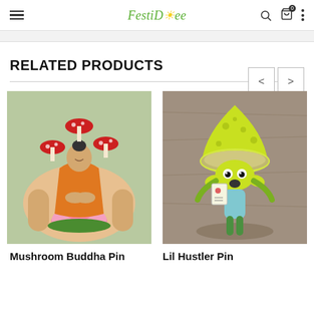FestiDose
RELATED PRODUCTS
[Figure (photo): Enamel pin of a Buddha figure sitting on a lotus flower with red mushrooms surrounding it, held in a hand against a green leafy background.]
Mushroom Buddha Pin
[Figure (photo): Enamel pin of a cartoon mushroom character 'Lil Hustler' with a large yellow-green mushroom cap hat, holding cards, on a wooden surface.]
Lil Hustler Pin